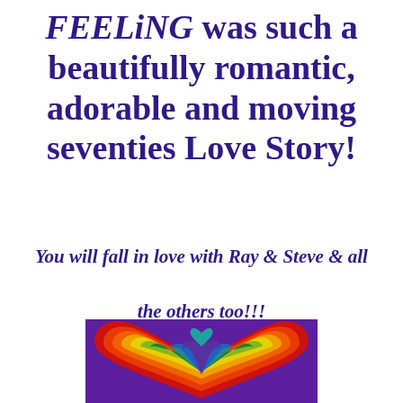FEELiNG was such a beautifully romantic, adorable and moving seventies Love Story!
You will fall in love with Ray & Steve & all the others too!!!
[Figure (illustration): Colorful rainbow heart illustration on a purple background, concentric heart shapes in rainbow colors (red, orange, yellow, green, teal, blue, purple)]